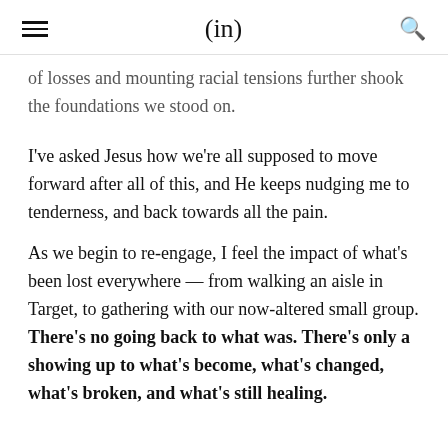(in)
of losses and mounting racial tensions further shook the foundations we stood on.
I've asked Jesus how we're all supposed to move forward after all of this, and He keeps nudging me to tenderness, and back towards all the pain.
As we begin to re-engage, I feel the impact of what's been lost everywhere — from walking an aisle in Target, to gathering with our now-altered small group. There's no going back to what was. There's only a showing up to what's become, what's changed, what's broken, and what's still healing.